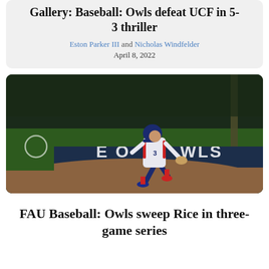Gallery: Baseball: Owls defeat UCF in 5-3 thriller
Eston Parker III and Nicholas Windfelder
April 8, 2022
[Figure (photo): A baseball player in a white pinstripe uniform and blue helmet running the bases at night. A blue outfield wall banner reads 'HOME OF THE OWLS' partially visible.]
FAU Baseball: Owls sweep Rice in three-game series